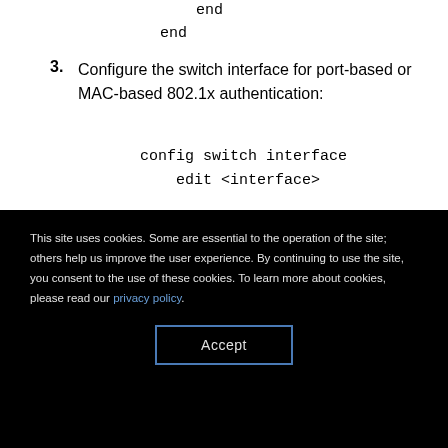end
    end
3. Configure the switch interface for port-based or MAC-based 802.1x authentication:
config switch interface
        edit <interface>
This site uses cookies. Some are essential to the operation of the site; others help us improve the user experience. By continuing to use the site, you consent to the use of these cookies. To learn more about cookies, please read our privacy policy.
Accept